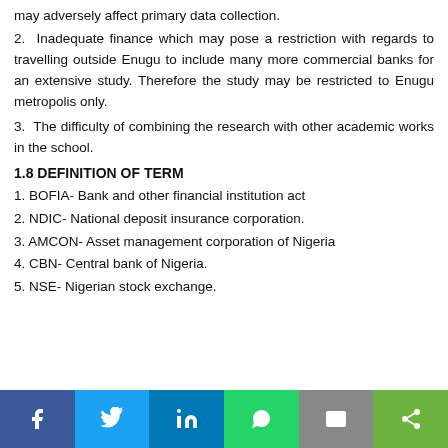may adversely affect primary data collection.
2. Inadequate finance which may pose a restriction with regards to travelling outside Enugu to include many more commercial banks for an extensive study. Therefore the study may be restricted to Enugu metropolis only.
3. The difficulty of combining the research with other academic works in the school.
1.8 DEFINITION OF TERM
1. BOFIA- Bank and other financial institution act
2. NDIC- National deposit insurance corporation.
3. AMCON- Asset management corporation of Nigeria
4. CBN- Central bank of Nigeria.
5. NSE- Nigerian stock exchange.